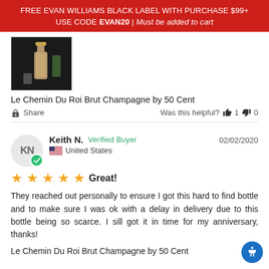FREE EVAN WILLIAMS BLACK LABEL WITH PURCHASE $99+ USE CODE EVAN20 | Must be added to cart
[Figure (photo): Product photo of Le Chemin Du Roi Brut Champagne bottle on dark background]
Le Chemin Du Roi Brut Champagne by 50 Cent
Share   Was this helpful? 1  0
Keith N.  Verified Buyer   02/02/2020
United States
★★★★★  Great!
They reached out personally to ensure I got this hard to find bottle and to make sure I was ok with a delay in delivery due to this bottle being so scarce. I sill got it in time for my anniversary, thanks!
Le Chemin Du Roi Brut Champagne by 50 Cent